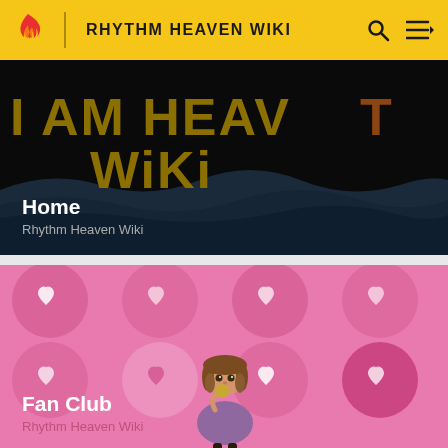RHYTHM HEAVEN WIKI
[Figure (screenshot): Rhythm Heaven Wiki home card with dark background showing gold and brown stylized text 'I AM HEAVEN WIKI' with wave silhouette, overlaid with white 'Home' text and gray 'Rhythm Heaven Wiki' subtitle]
[Figure (screenshot): Fan Club game card with pink background covered in heart circle patterns and a cartoon girl character with brown hair holding something to her mouth, overlaid with white 'Fan Club' text and pink 'Rhythm Heaven Wiki' subtitle]